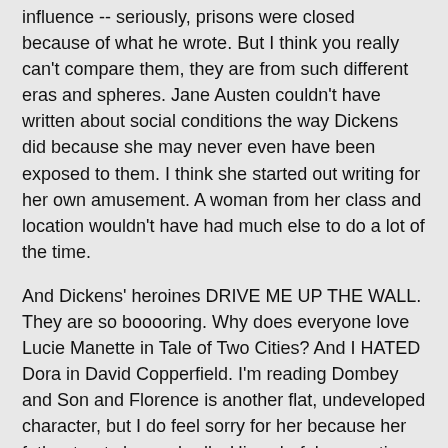influence -- seriously, prisons were closed because of what he wrote. But I think you really can't compare them, they are from such different eras and spheres. Jane Austen couldn't have written about social conditions the way Dickens did because she may never even have been exposed to them. I think she started out writing for her own amusement. A woman from her class and location wouldn't have had much else to do a lot of the time.
And Dickens' heroines DRIVE ME UP THE WALL. They are so booooring. Why does everyone love Lucie Manette in Tale of Two Cities? And I HATED Dora in David Copperfield. I'm reading Dombey and Son and Florence is another flat, undeveloped character, but I do feel sorry for her because her father treats her so badly. His colorful supporting characters are brilliant and they're really what keeps the stories alive for me.